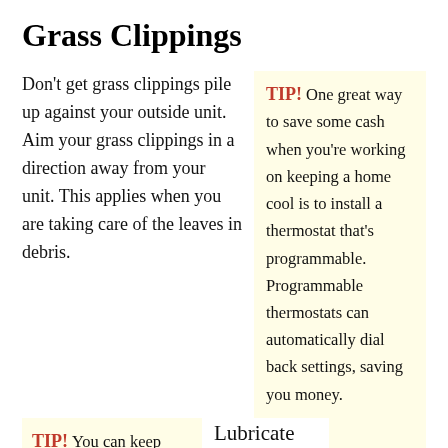Grass Clippings
Don’t get grass clippings pile up against your outside unit. Aim your grass clippings in a direction away from your unit. This applies when you are taking care of the leaves in debris.
TIP! One great way to save some cash when you’re working on keeping a home cool is to install a thermostat that’s programmable. Programmable thermostats can automatically dial back settings, saving you money.
TIP! You can keep energy costs in your home lower by choosing to have professional maintenance done on
Lubricate your condenser once a year. You will notice these ports have